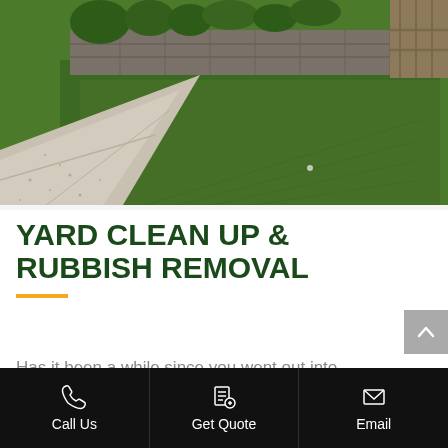[Figure (photo): Aerial-angled photo of a neatly manicured green lawn beside a concrete driveway/path, with a retaining wall and timber fence visible in the background and trees behind.]
YARD CLEAN UP & RUBBISH REMOVAL
Has it been a while since you went out into the yard ??? Has it got a bit out of hand ???
Call Us | Get Quote | Email